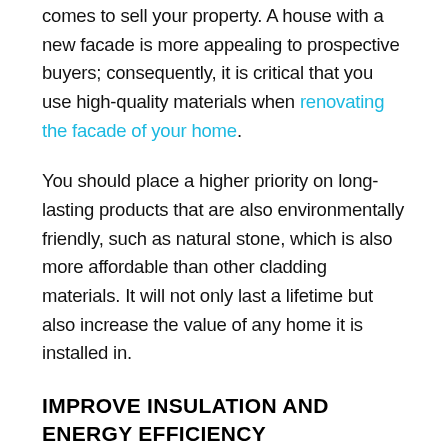comes to sell your property. A house with a new facade is more appealing to prospective buyers; consequently, it is critical that you use high-quality materials when renovating the facade of your home.
You should place a higher priority on long-lasting products that are also environmentally friendly, such as natural stone, which is also more affordable than other cladding materials. It will not only last a lifetime but also increase the value of any home it is installed in.
IMPROVE INSULATION AND ENERGY EFFICIENCY